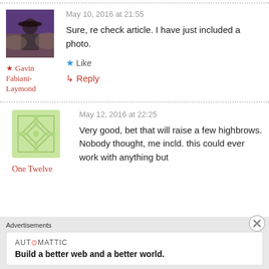[Figure (photo): Avatar photo of a person wearing a hat outdoors, purple/dark background]
★ Gavin Fabiani-Laymond
May 10, 2016 at 21:55
Sure, re check article. I have just included a photo.
★ Like
↳ Reply
[Figure (logo): Green diamond/square pattern logo for One Twelve]
One Twelve
May 12, 2016 at 22:25
Very good, bet that will raise a few highbrows. Nobody thought, me incld. this could ever work with anything but
Advertisements
[Figure (logo): Automattic logo and slogan: Build a better web and a better world.]